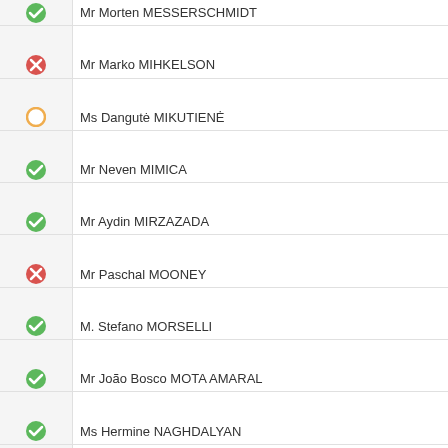Mr Morten MESSERSCHMIDT
Mr Marko MIHKELSON
Ms Dangutė MIKUTIENĖ
Mr Neven MIMICA
Mr Aydin MIRZAZADA
Mr Paschal MOONEY
M. Stefano MORSELLI
Mr João Bosco MOTA AMARAL
Ms Hermine NAGHDALYAN
Ms Natalia NAROCHNITSKAYA
M. Pasquale NESSA
Mr Žarko OBRADOVIĆ
Ms Vera OSKINA
Mr Morten ØSTERGAARD
Mr Julio PADILLA
Ms Elsa PAPADIMITRIOU
Mme Lajla PERNASKA